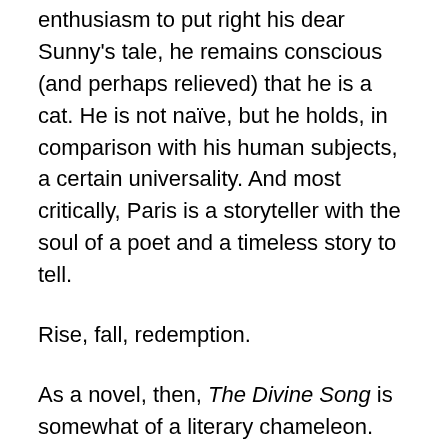enthusiasm to put right his dear Sunny's tale, he remains conscious (and perhaps relieved) that he is a cat. He is not naïve, but he holds, in comparison with his human subjects, a certain universality. And most critically, Paris is a storyteller with the soul of a poet and a timeless story to tell.
Rise, fall, redemption.
As a novel, then, The Divine Song is somewhat of a literary chameleon. With a tragic hero woven into so deeply into African American history and musical heritage, it is easy to forget that this is the work of a francophone author from Africa. The ghosts, the magical energy, and the enigmatic feline narrator arise in the Old World, freed from